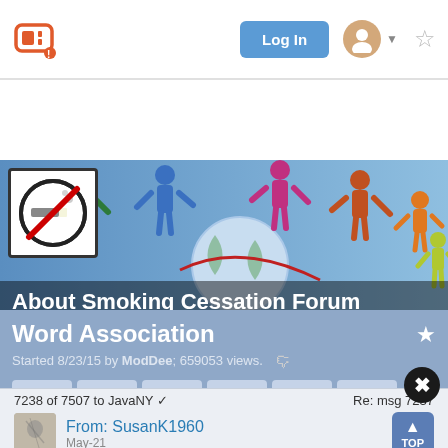[Figure (screenshot): Website top navigation bar with logo, Log In button, user avatar icon with dropdown arrow, and star/bookmark icon]
[Figure (photo): Banner image showing colorful paper cut-out people figures holding hands around a globe, with About Smoking Cessation Forum title and Hosted by Denim50 subtitle, and a no-smoking symbol in top left]
[Figure (screenshot): Action bar with orange Show Menu button and blue + New Topic and search buttons]
Word Association
Started 8/23/15 by ModDee; 659053 views.
[Figure (screenshot): Pagination controls showing page numbers 1, 2, 3, ..., 723, 724, 725 (active), 726, 727, ..., 749, 750, 751]
7238 of 7507 to JavaNY ✓   Re: msg 7237
From: SusanK1960
May-21